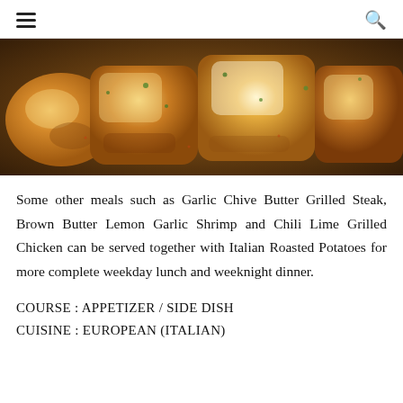☰  🔍
[Figure (photo): Close-up photo of golden roasted potato chunks garnished with herbs, in a dark pan]
Some other meals such as Garlic Chive Butter Grilled Steak, Brown Butter Lemon Garlic Shrimp and Chili Lime Grilled Chicken can be served together with Italian Roasted Potatoes for more complete weekday lunch and weeknight dinner.
COURSE : APPETIZER / SIDE DISH
CUISINE : EUROPEAN (ITALIAN)